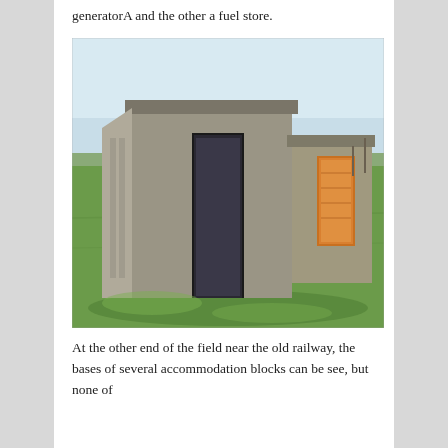generatorA and the other a fuel store.
[Figure (photo): Two small concrete bunker-style buildings standing in a grassy field. The larger building is in the foreground on the left, with a narrow doorway. A smaller similar building is visible behind and to the right, with an opening showing orange/warm light inside. Sky is pale blue in the background.]
At the other end of the field near the old railway, the bases of several accommodation blocks can be see, but none of